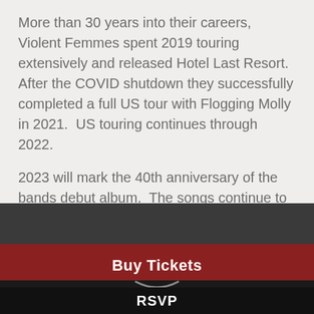More than 30 years into their careers, Violent Femmes spent 2019 touring extensively and released Hotel Last Resort.  After the COVID shutdown they successfully completed a full US tour with Flogging Molly in 2021.  US touring continues through 2022.
2023 will mark the 40th anniversary of the bands debut album.  The songs continue to impact younger generations to this day.
Buy Tickets
RSVP